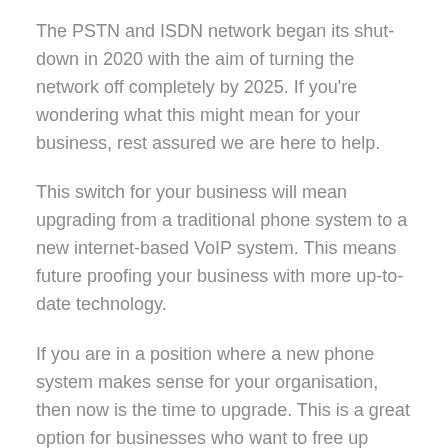The PSTN and ISDN network began its shut-down in 2020 with the aim of turning the network off completely by 2025. If you're wondering what this might mean for your business, rest assured we are here to help.
This switch for your business will mean upgrading from a traditional phone system to a new internet-based VoIP system. This means future proofing your business with more up-to-date technology.
If you are in a position where a new phone system makes sense for your organisation, then now is the time to upgrade. This is a great option for businesses who want to free up space and IT staff time and those who want to lower their monthly costs or have staff working from home.
Cloud/VoIP solutions are offered on a per user per month basis, giving each user the ability to make and receive